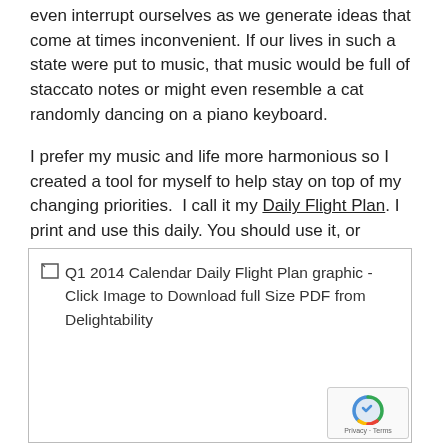even interrupt ourselves as we generate ideas that come at times inconvenient. If our lives in such a state were put to music, that music would be full of staccato notes or might even resemble a cat randomly dancing on a piano keyboard.
I prefer my music and life more harmonious so I created a tool for myself to help stay on top of my changing priorities.  I call it my Daily Flight Plan. I print and use this daily. You should use it, or something like it, too.
[Figure (other): Broken image placeholder for Q1 2014 Calendar Daily Flight Plan graphic - Click Image to Download full Size PDF from Delightability]